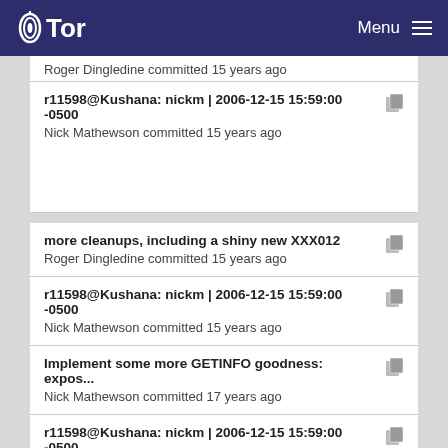Tor Menu
Roger Dingledine committed 15 years ago
r11598@Kushana: nickm | 2006-12-15 15:59:00 -0500
Nick Mathewson committed 15 years ago
more cleanups, including a shiny new XXX012
Roger Dingledine committed 15 years ago
r11598@Kushana: nickm | 2006-12-15 15:59:00 -0500
Nick Mathewson committed 15 years ago
Implement some more GETINFO goodness: expos...
Nick Mathewson committed 17 years ago
r11598@Kushana: nickm | 2006-12-15 15:59:00 -0500
Nick Mathewson committed 15 years ago